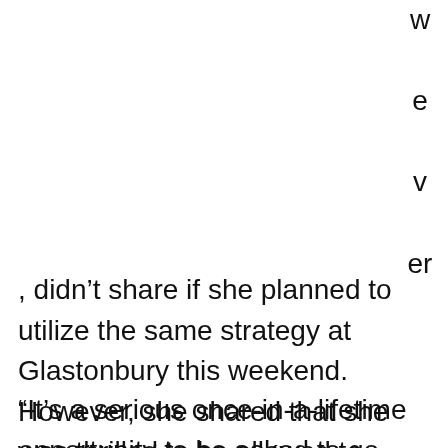wever
, didn't share if she planned to utilize the same strategy at Glastonbury this weekend. However, she shared that she was thrilled to be allowed to headline the Glastonbury festival, along with Paul McCartney and Kendrick Lamar. At age 20, Eilish is the youngest Glastonbury headliner and is only glad that there will be more opportunities for women to headline music festivals in the coming years.
“It’s a serious once-in-a-lifetime opportunity to be asked to go and do,” Eilish admitted. “And I